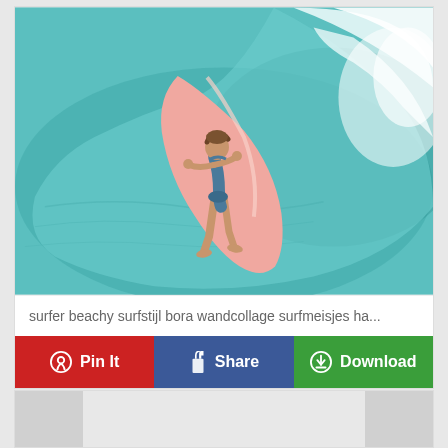[Figure (photo): A woman surfer riding a pink surfboard on a turquoise ocean wave, photographed from above. She is wearing a blue swimsuit. White ocean foam is visible to the right.]
surfer beachy surfstijl bora wandcollage surfmeisjes ha...
Pin It   Share   Download
[Figure (photo): Partially visible second image card at the bottom of the page, showing a light gray/white image placeholder.]